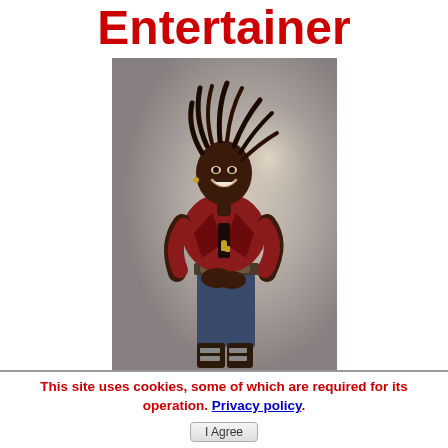Entertainer
[Figure (photo): A man with dreadlocks wearing a red blazer jacket, jeans with decorative belt, smiling and posing against a grey background. Professional entertainer promotional photo.]
This site uses cookies, some of which are required for its operation. Privacy policy. I Agree